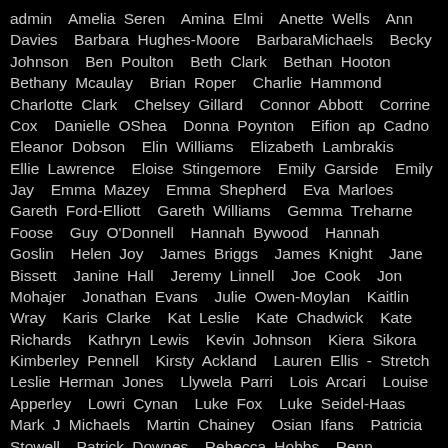admin  Amelia Seren  Amina Elmi  Anette Wells  Ann Davies  Barbara Hughes-Moore  BarbaraMichaels  Becky Johnson  Ben Poulton  Beth Clark  Bethan Hooton  Bethany Mcaulay  Brian Roper  Charlie Hammond  Charlotte Clark  Chelsey Gillard  Connor Abbott  Corrine Cox  Danielle OShea  Donna Poynton  Eifion ap Cadno  Eleanor Dobson  Elin Williams  Elizabeth Lambrakis  Ellie Lawrence  Eloise Stingemore  Emily Garside  Emily Jay  Emma Mazey  Emma Shepherd  Eva Marloes  Gareth Ford-Elliott  Gareth Williams  Gemma Treharne Foose  Guy O'Donnell  Hannah Bywood  Hannah Goslin  Helen Joy  James Briggs  James Knight  Jane Bissett  Janine Hall  Jeremy Linnell  Joe Cook  Jon Mohajer  Jonathan Evans  Julie Owen-Moylan  Kaitlin Wray  Karis Clarke  Kat Leslie  Kate Chadwick  Kate Richards  Kathryn Lewis  Kevin Johnson  Kiera Sikora  Kimberley Pennell  Kirsty Ackland  Lauren Ellis - Stretch  Leslie Herman Jones  Llywela Parri  Lois Arcari  Louise Apperley  Lowri Cynan  Luke Fox  Luke Seidel-Haas  Mark J Michaels  Martin Chainey  Osian Ifans  Patricia Stowell  Patrick Downes  Rebecca Hobbs  Renn Hubbuck  Rhys Morgan  Rhys Payne  Richard Evans  Roger Barrington  Sam Pryce  Sara Debnam  Sarah Debnam  Sarah Finch  Shannon Newman  Sian Thomas  Sophie Wiggins  Steph Back  Tafsila Khan  Tanica Psalmist  Tanisha Fair  Troy Lenny  Vicky Lord